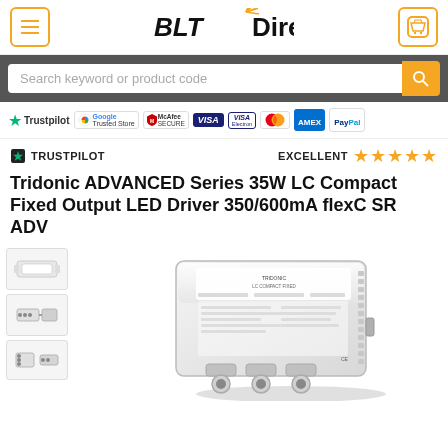BLT Direct - navigation header with menu and cart buttons
Search keyword or product code
[Figure (infographic): Trust badges row: Trustpilot, Google Trusted Store, McAfee Secure, Visa, Visa Electron, Mastercard, AMEX, PayPal]
TRUSTPILOT  EXCELLENT ★★★★★
Tridonic ADVANCED Series 35W LC Compact Fixed Output LED Driver 350/600mA flexC SR ADV
[Figure (photo): Product image of Tridonic ADVANCED Series LED Driver - white rectangular unit with connector ports, shown with thumbnail images on the left side]